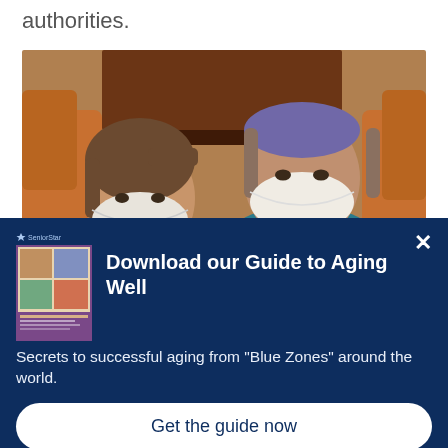authorities.
[Figure (photo): Two women wearing white face masks photographed indoors near a piano and orange chairs. The woman on the right wears teal scrubs and a colorful headband.]
[Figure (screenshot): Modal popup with dark navy background. Contains SeniorStar logo, book thumbnail image, title 'Download our Guide to Aging Well', description text, and a 'Get the guide now' button.]
Download our Guide to Aging Well
Secrets to successful aging from "Blue Zones" around the world.
Get the guide now